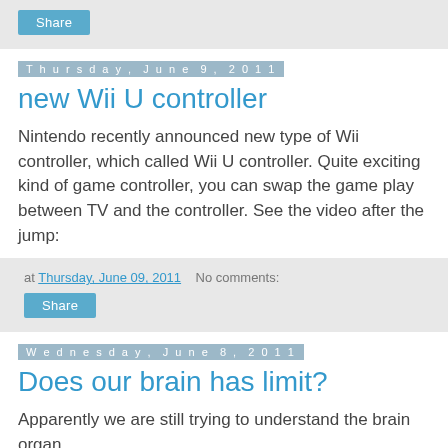Share
Thursday, June 9, 2011
new Wii U controller
Nintendo recently announced new type of Wii controller, which called Wii U controller. Quite exciting kind of game controller, you can swap the game play between TV and the controller. See the video after the jump:
at Thursday, June 09, 2011   No comments:
Share
Wednesday, June 8, 2011
Does our brain has limit?
Apparently we are still trying to understand the brain organ